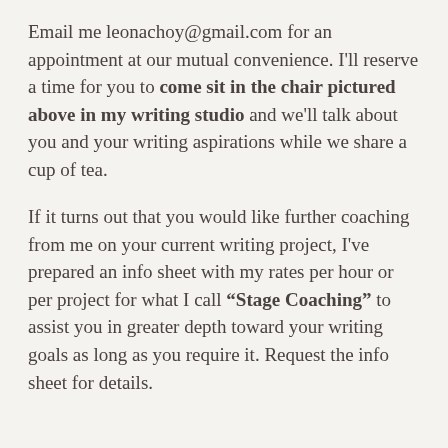Email me leonachoy@gmail.com for an appointment at our mutual convenience. I'll reserve a time for you to come sit in the chair pictured above in my writing studio and we'll talk about you and your writing aspirations while we share a cup of tea.
If it turns out that you would like further coaching from me on your current writing project, I've prepared an info sheet with my rates per hour or per project for what I call “Stage Coaching” to assist you in greater depth toward your writing goals as long as you require it. Request the info sheet for details.